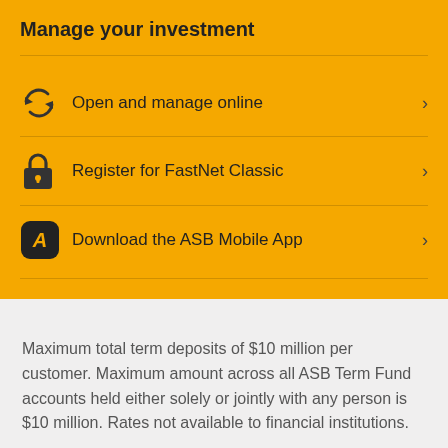Manage your investment
Open and manage online
Register for FastNet Classic
Download the ASB Mobile App
Maximum total term deposits of $10 million per customer. Maximum amount across all ASB Term Fund accounts held either solely or jointly with any person is $10 million. Rates not available to financial institutions.
ASB's Terms and Conditions apply. For more information